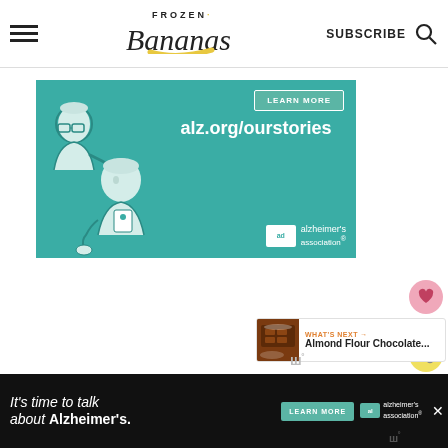Frozen Bananas — SUBSCRIBE
[Figure (illustration): Alzheimer's Association advertisement banner with teal background showing two illustrated elderly figures and text 'alz.org/ourstories' with LEARN MORE button and Alzheimer's association logo]
[Figure (illustration): Heart/like button (pink circle with heart icon), count of 7, and share button (yellow circle with share icon) in right sidebar]
[Figure (screenshot): What's Next widget showing thumbnail of chocolate dessert and text 'Almond Flour Chocolate...']
ш°
[Figure (illustration): Bottom banner ad: black background, white italic text "It's time to talk about Alzheimer's.", LEARN MORE button, Alzheimer's association logo, and close button]